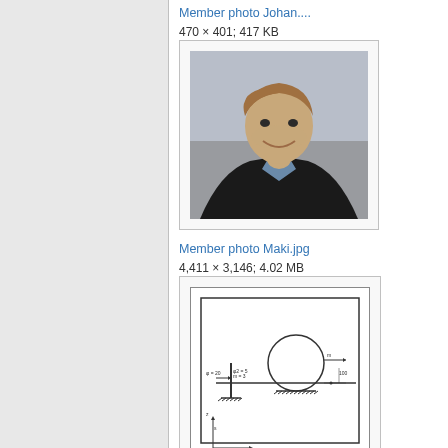Member photo Johan....
470 × 401; 417 KB
[Figure (photo): Thumbnail of Member photo Johan - a smiling man in a dark jacket]
Member photo Maki.jpg
4,411 × 3,146; 4.02 MB
[Figure (engineering-diagram): Engineering setup diagram with a circle (roller/wheel) on a horizontal surface with support, dimensions and labels]
Setup.png
479 × 479; 6 KB